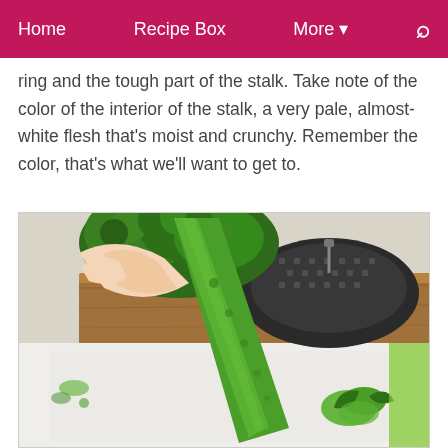Home   Recipe Box   More ▾   🔍
ring and the tough part of the stalk. Take note of the color of the interior of the stalk, a very pale, almost-white flesh that's moist and crunchy. Remember the color, that's what we'll want to get to.
[Figure (photo): A hand holding a broccoli stalk that has been peeled, showing the light green stalk, with trimmed pieces on a white cutting board and a dark metal steamer basket visible in the background on a wooden cutting board.]